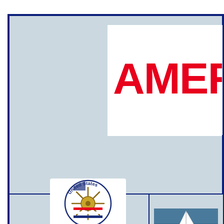[Figure (logo): Partial view of a document cover page with navy blue border and light blue-grey background. A white box contains partial red text 'AMER' (cut off, likely 'AMERICA' or similar company name). Bottom section shows a 'United States' circular logo with a ship's wheel and a sailboat photograph.]
[Figure (logo): United States circular logo with ship's wheel, red and blue stripes, and stars]
[Figure (photo): Sailboat on open water, aerial or side view]